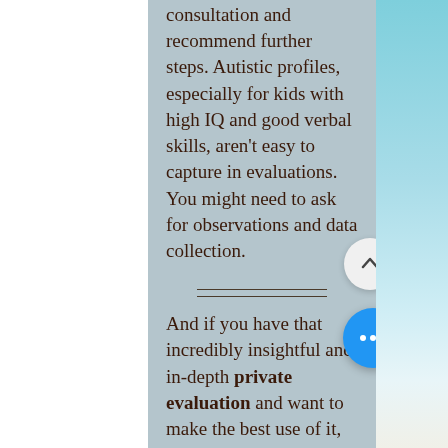consultation and recommend further steps. Autistic profiles, especially for kids with high IQ and good verbal skills, aren't easy to capture in evaluations. You might need to ask for observations and data collection.
And if you have that incredibly insightful and in-depth private evaluation and want to make the best use of it, what can you do? How can you help your team take advantage of the amazing (and expensive) additional expertise you are bringing to the table?